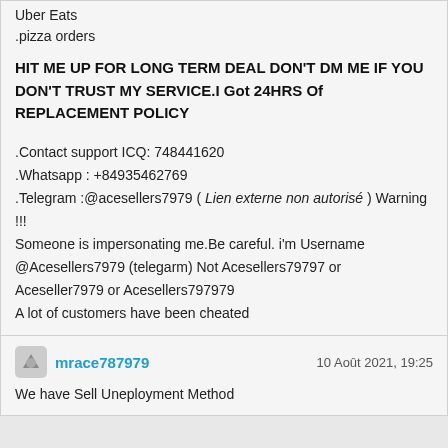Uber Eats
.pizza orders
HIT ME UP FOR LONG TERM DEAL DON'T DM ME IF YOU DON'T TRUST MY SERVICE.I Got 24HRS Of REPLACEMENT POLICY
.Contact support ICQ: 748441620
.Whatsapp : +84935462769
.Telegram :@acesellers7979 ( Lien externe non autorisé ) Warning !!!
Someone is impersonating me.Be careful. i'm Username @Acesellers7979 (telegarm) Not Acesellers79797 or Aceseller7979 or Acesellers797979
A lot of customers have been cheated
mrace787979
10 Août 2021, 19:25
We have Sell Uneployment Method